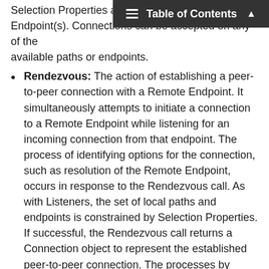Table of Contents
Selection Properties and/or the Endpoint(s). Connections can be accepted on any of the available paths or endpoints.
Rendezvous: The action of establishing a peer-to-peer connection with a Remote Endpoint. It simultaneously attempts to initiate a connection to a Remote Endpoint while listening for an incoming connection from that endpoint. The process of identifying options for the connection, such as resolution of the Remote Endpoint, occurs in response to the Rendezvous call. As with Listeners, the set of local paths and endpoints is constrained by Selection Properties. If successful, the Rendezvous call returns a Connection object to represent the established peer-to-peer connection. The processes by which connections are initiated during a Rendezvous action will depend on the set of Local and Remote Endpoints configured on the Preconnection. For example, if the Local and Remote Endpoints are TCP host candidates, then a TCP simultaneous open [RFC0793] will be performed. However, if the set of Local